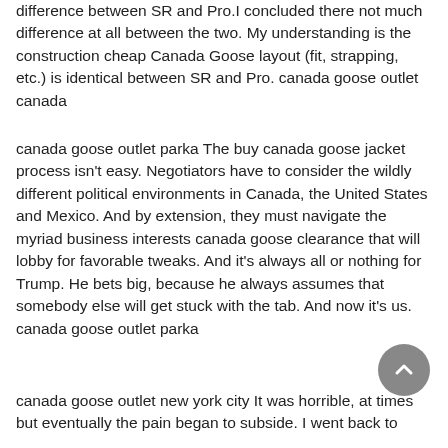difference between SR and Pro.I concluded there not much difference at all between the two. My understanding is the construction cheap Canada Goose layout (fit, strapping, etc.) is identical between SR and Pro. canada goose outlet canada
canada goose outlet parka The buy canada goose jacket process isn't easy. Negotiators have to consider the wildly different political environments in Canada, the United States and Mexico. And by extension, they must navigate the myriad business interests canada goose clearance that will lobby for favorable tweaks. And it's always all or nothing for Trump. He bets big, because he always assumes that somebody else will get stuck with the tab. And now it's us. canada goose outlet parka
canada goose outlet new york city It was horrible, at times but eventually the pain began to subside. I went back to